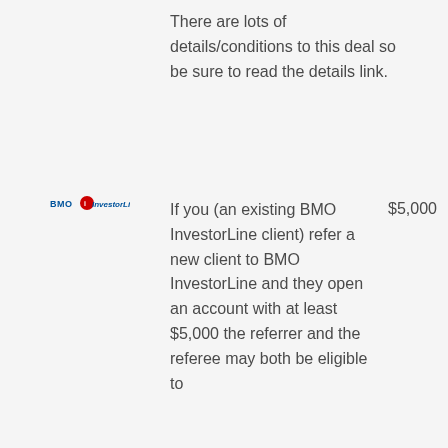There are lots of details/conditions to this deal so be sure to read the details link.
[Figure (logo): BMO InvestorLine logo with red circle icon]
If you (an existing BMO InvestorLine client) refer a new client to BMO InvestorLine and they open an account with at least $5,000 the referrer and the referee may both be eligible to
$5,000